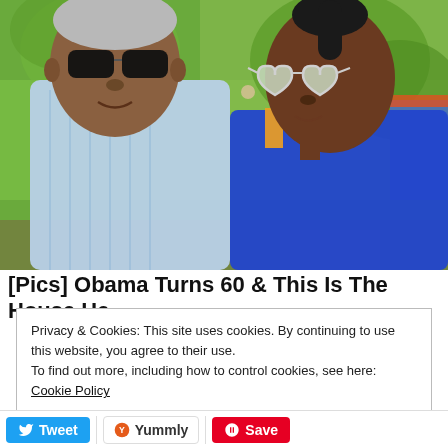[Figure (photo): Photo of two people (man and woman) wearing sunglasses outdoors with green vegetation in the background. Man on left wears a light blue checkered shirt and dark sunglasses. Woman on right wears a blue outfit and heart-shaped sunglasses.]
[Pics] Obama Turns 60 & This Is The House He
Privacy & Cookies: This site uses cookies. By continuing to use this website, you agree to their use.
To find out more, including how to control cookies, see here: Cookie Policy
Close and accept
Tweet   Yummly   Save